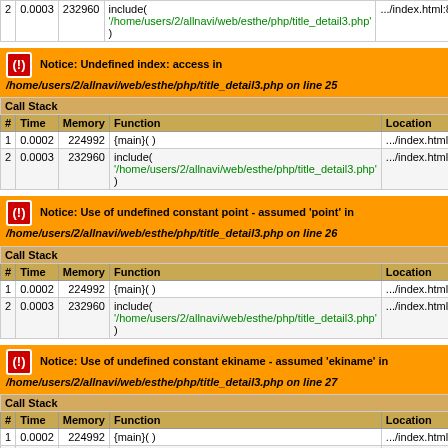| # | Time | Memory | Function | Location |
| --- | --- | --- | --- | --- |
| 2 | 0.0003 | 232960 | include( '/home/users/2/allnavi/web/esthe/php/title_detail3.php' ) | .../index.html:8 |
Notice: Undefined index: access in /home/users/2/allnavi/web/esthe/php/title_detail3.php on line 25
| # | Time | Memory | Function | Location |
| --- | --- | --- | --- | --- |
| 1 | 0.0002 | 224992 | {main}( ) | .../index.html:0 |
| 2 | 0.0003 | 232960 | include( '/home/users/2/allnavi/web/esthe/php/title_detail3.php' ) | .../index.html:8 |
Notice: Use of undefined constant point - assumed 'point' in /home/users/2/allnavi/web/esthe/php/title_detail3.php on line 26
| # | Time | Memory | Function | Location |
| --- | --- | --- | --- | --- |
| 1 | 0.0002 | 224992 | {main}( ) | .../index.html:0 |
| 2 | 0.0003 | 232960 | include( '/home/users/2/allnavi/web/esthe/php/title_detail3.php' ) | .../index.html:8 |
Notice: Use of undefined constant ekiname - assumed 'ekiname' in /home/users/2/allnavi/web/esthe/php/title_detail3.php on line 27
| # | Time | Memory | Function | Location |
| --- | --- | --- | --- | --- |
| 1 | 0.0002 | 224992 | {main}( ) | .../index.html:0 |
| 2 | 0.0003 | 232960 | include( '/home/users/2/allnavi/web/esthe/php/title_detail3.php' ) | .../index.html:8 |
medicalslim,エステティック ,脱毛,メディカルエステ,美容,美肌,肌荒れ,メタボリック,美容リンパマッサージ,骨盤矯正,エステ" /> Notice: Use of undefined constant ...